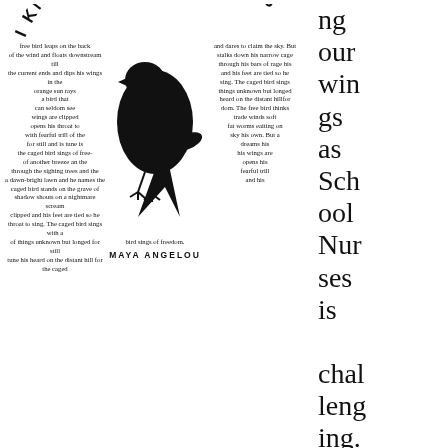[Figure (illustration): A typographic poem layout shaped around a black bird silhouette. The poem 'I Know Why the Caged Bird Sings' by Maya Angelou is arranged in two columns flanking the bird, with the title arced at top. Text wraps around the bird image. Attributed to MAYA ANGELOU at the bottom.]
ng our wings as School Nurses is challenging.
Truthfully, unless your school district is decidedly progressive and forward-thinking, there is limited upward mobility in our career paths. I have come to understand that in order to grow I have to stretch out instead of up.